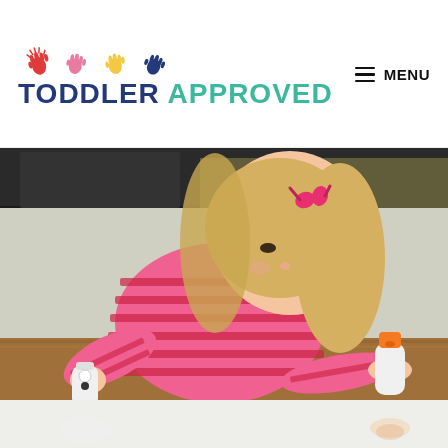TODDLER APPROVED | MENU
[Figure (photo): A young blonde toddler girl wearing a pink and red striped long-sleeve shirt with pink hair clips, sitting at a wooden table and applying glue from a white bottle with a googly eye decoration; a second glue bottle with an orange cap sits nearby in the background.]
[Figure (photo): Blurred reflection of the scene visible below the table surface, light background.]